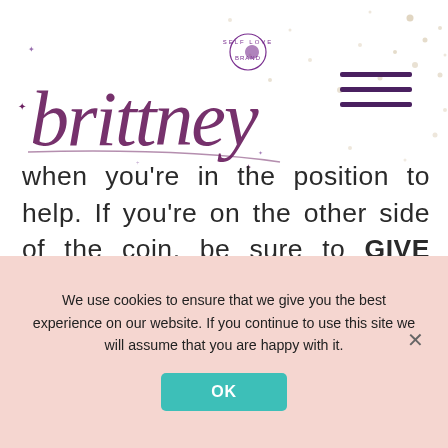[Figure (logo): Brittney self love signature logo in purple cursive with decorative stars and moon emblem, and decorative pearl/dot scatter pattern in background]
when you're in the position to help. If you're on the other side of the coin, be sure to GIVE THANKS for the magical ways in which you are receiving support.
We use cookies to ensure that we give you the best experience on our website. If you continue to use this site we will assume that you are happy with it.
OK